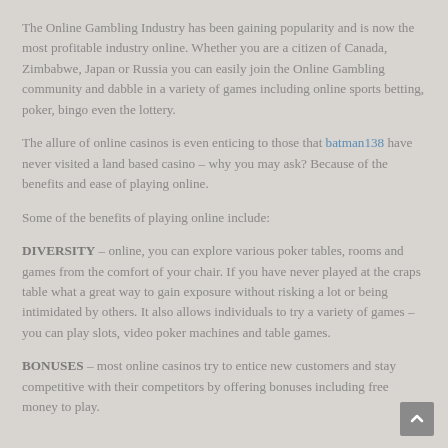The Online Gambling Industry has been gaining popularity and is now the most profitable industry online. Whether you are a citizen of Canada, Zimbabwe, Japan or Russia you can easily join the Online Gambling community and dabble in a variety of games including online sports betting, poker, bingo even the lottery.
The allure of online casinos is even enticing to those that batman138 have never visited a land based casino – why you may ask? Because of the benefits and ease of playing online.
Some of the benefits of playing online include:
DIVERSITY – online, you can explore various poker tables, rooms and games from the comfort of your chair. If you have never played at the craps table what a great way to gain exposure without risking a lot or being intimidated by others. It also allows individuals to try a variety of games – you can play slots, video poker machines and table games.
BONUSES – most online casinos try to entice new customers and stay competitive with their competitors by offering bonuses including free money to play.